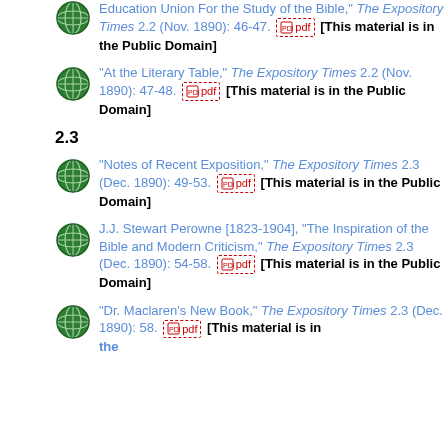Education Union For the Study of the Bible," The Expository Times 2.2 (Nov. 1890): 46-47. pdf [This material is in the Public Domain]
"At the Literary Table," The Expository Times 2.2 (Nov. 1890): 47-48. pdf [This material is in the Public Domain]
2.3
"Notes of Recent Exposition," The Expository Times 2.3 (Dec. 1890): 49-53. pdf [This material is in the Public Domain]
J.J. Stewart Perowne [1823-1904], "The Inspiration of the Bible and Modern Criticism," The Expository Times 2.3 (Dec. 1890): 54-58. pdf [This material is in the Public Domain]
"Dr. Maclaren's New Book," The Expository Times 2.3 (Dec. 1890): 58. pdf [This material is in the